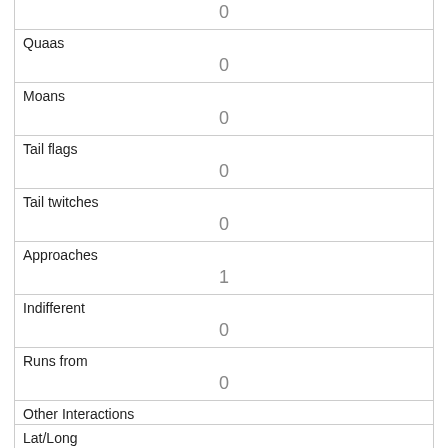| 0 |
| Quaas | 0 |
| Moans | 0 |
| Tail flags | 0 |
| Tail twitches | 0 |
| Approaches | 1 |
| Indifferent | 0 |
| Runs from | 0 |
| Other Interactions |  |
| Lat/Long | POINT (-73.9714089647431 40.7767916587915) |
| Link |  |